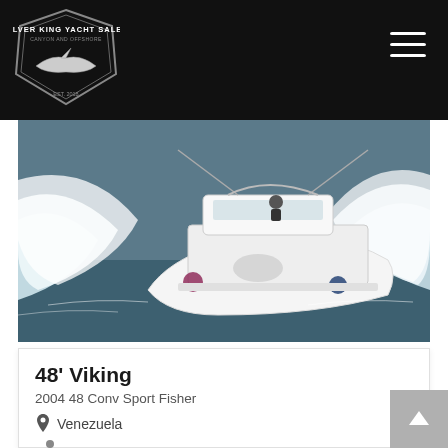Silver King Yacht Sales — navigation header with logo and hamburger menu
[Figure (photo): Aerial view of a white sport fisher yacht moving fast through blue-green ocean water, creating large white wake waves on both sides]
48' Viking
2004 48 Conv Sport Fisher
Venezuela
$ 680,000